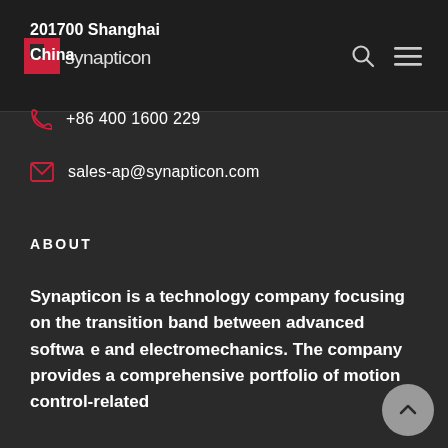synapticon (logo header with search and menu icons)
201700 Shanghai
China
+86 400 1600 229
sales-ap@synapticon.com
ABOUT
Synapticon is a technology company focusing on the transition band between advanced software and electromechanics. The company provides a comprehensive portfolio of motion control-related